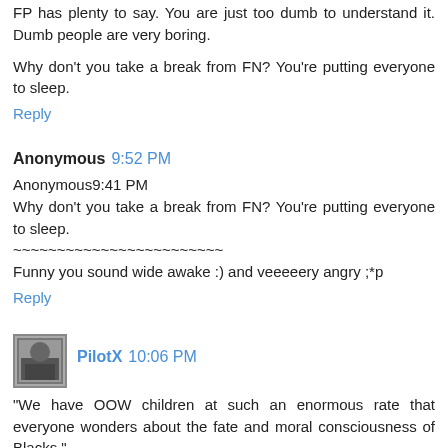FP has plenty to say. You are just too dumb to understand it. Dumb people are very boring.
Why don't you take a break from FN? You're putting everyone to sleep.
Reply
Anonymous 9:52 PM
Anonymous9:41 PM
Why don't you take a break from FN? You're putting everyone to sleep.
~~~~~~~~~~~~~~~~~~~~~~~~
Funny you sound wide awake :) and veeeeery angry ;*p
Reply
PilotX 10:06 PM
"We have OOW children at such an enormous rate that everyone wonders about the fate and moral consciousness of Blacks."